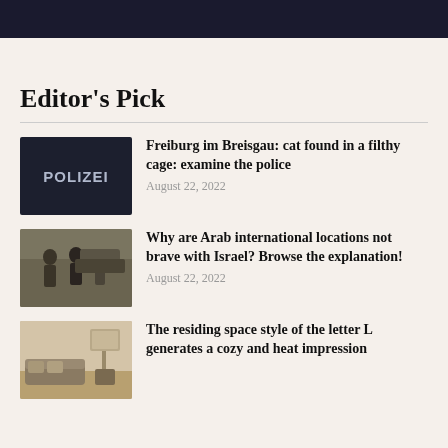[Figure (photo): Dark header bar at top of page]
Editor's Pick
[Figure (photo): Person wearing a dark jacket with POLIZEI text on the back]
Freiburg im Breisgau: cat found in a filthy cage: examine the police
August 22, 2022
[Figure (photo): Soldiers walking in a dusty outdoor area]
Why are Arab international locations not brave with Israel? Browse the explanation!
August 22, 2022
[Figure (photo): Modern L-shaped living room interior]
The residing space style of the letter L generates a cozy and heat impression